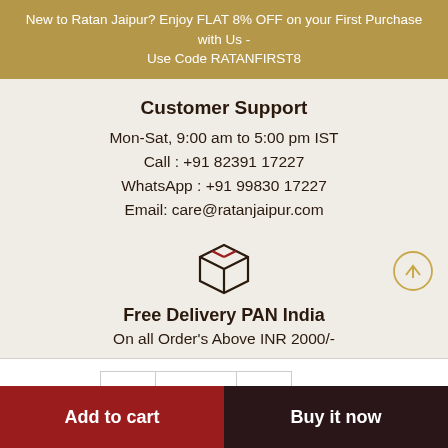New to Ratan Jaipur? Enjoy FLAT 8% OFF on your First Purchase with Us - Use Code RATANFIRST8
Customer Support
Mon-Sat, 9:00 am to 5:00 pm IST
Call : +91 82391 17227
WhatsApp : +91 99830 17227
Email: care@ratanjaipur.com
[Figure (illustration): Icon of a package/box with a red ribbon/stripe on top]
Free Delivery PAN India
On all Order's Above INR 2000/-
Quantity: 1
Add to cart
Buy it now